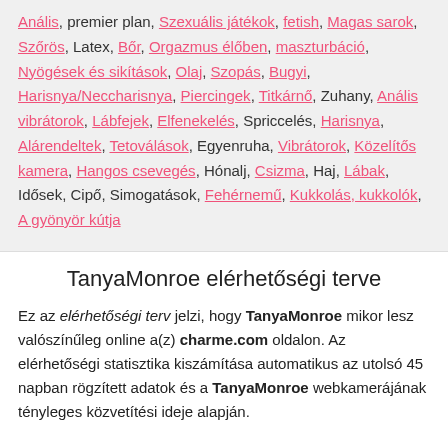Anális, premier plan, Szexuális játékok, fetish, Magas sarok, Szőrös, Latex, Bőr, Orgazmus élőben, maszturbáció, Nyögések és sikítások, Olaj, Szopás, Bugyi, Harisnya/Neccharisnya, Piercingek, Titkárnő, Zuhany, Anális vibrátorok, Lábfejek, Elfenekelés, Spriccelés, Harisnya, Alárendeltek, Tetoválások, Egyenruha, Vibrátorok, Közelítős kamera, Hangos csevegés, Hónalj, Csizma, Haj, Lábak, Idősek, Cipő, Simogatások, Fehérnemű, Kukkolás, kukkolók, A gyönyör kútja
TanyaMonroe elérhetőségi terve
Ez az elérhetőségi terv jelzi, hogy TanyaMonroe mikor lesz valószínűleg online a(z) charme.com oldalon. Az elérhetőségi statisztika kiszámítása automatikus az utolsó 45 napban rögzített adatok és a TanyaMonroe webkamerájának tényleges közvetítési ideje alapján.